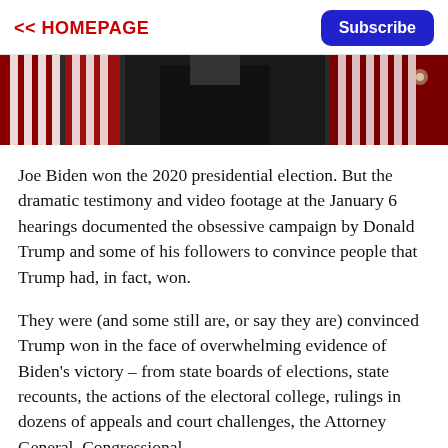<< HOMEPAGE  Subscribe
[Figure (photo): Hero image showing American flags and a dark-suited figure in the background, partial view]
Joe Biden won the 2020 presidential election. But the dramatic testimony and video footage at the January 6 hearings documented the obsessive campaign by Donald Trump and some of his followers to convince people that Trump had, in fact, won.
They were (and some still are, or say they are) convinced Trump won in the face of overwhelming evidence of Biden's victory – from state boards of elections, state recounts, the actions of the electoral college, rulings in dozens of appeals and court challenges, the Attorney General, Congressional